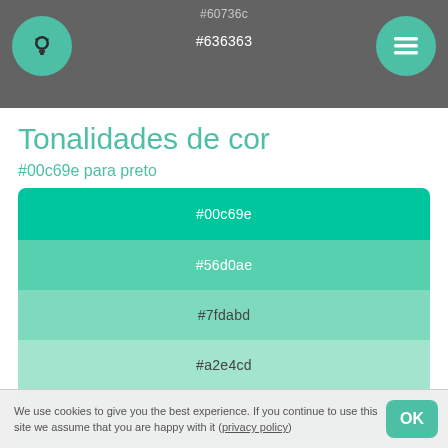#60736c
#636363
Tonalidades de cor
#00c69e para preto
[Figure (infographic): Color swatches showing tones from #00c69e to black: #00c69e, #56d0ae, #7fdabd, #a2e4cd, #c2edde, #e1f6ee]
#ffffff / #fff
We use cookies to give you the best experience. If you continue to use this site we assume that you are happy with it (privacy policy)